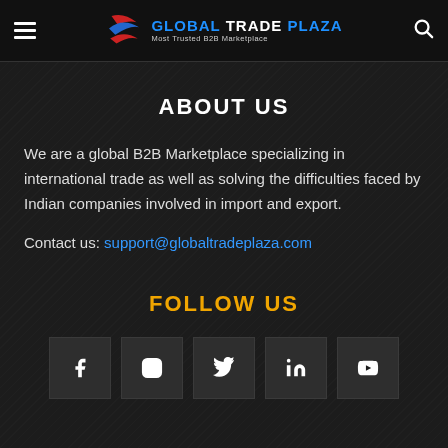[Figure (logo): Global Trade Plaza logo with red/blue swoosh icon, text 'GLOBAL TRADE PLAZA' and tagline 'Most Trusted B2B Marketplace']
ABOUT US
We are a global B2B Marketplace specializing in international trade as well as solving the difficulties faced by Indian companies involved in import and export.
Contact us: support@globaltradeplaza.com
FOLLOW US
[Figure (infographic): Social media icons: Facebook, Instagram, Twitter, LinkedIn, YouTube — each in a dark square button]